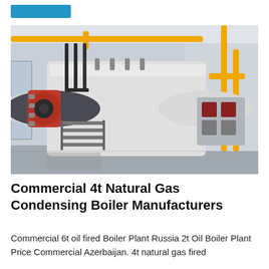[Figure (photo): Industrial gas-fired boiler with large white cylindrical body and red burner assembly on the right side, with yellow gas pipes visible in the background, installed in a facility room.]
Commercial 4t Natural Gas Condensing Boiler Manufacturers
Commercial 6t oil fired Boiler Plant Russia 2t Oil Boiler Plant Price Commercial Azerbaijan. 4t natural gas fired